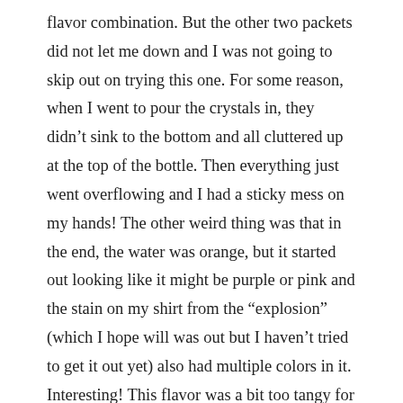flavor combination.  But the other two packets did not let me down and I was not going to skip out on trying this one.  For some reason, when I went to pour the crystals in, they didn't sink to the bottom and all cluttered up at the top of the bottle. Then everything just went overflowing and I had a sticky mess on my hands!  The other weird thing was that in the end, the water was orange, but it started out looking like it might be purple or pink and the stain on my shirt from the “explosion” (which I hope will was out but I haven’t tried to get it out yet) also had multiple colors in it.  Interesting!  This flavor was a bit too tangy for my liking.  It was also weird (but